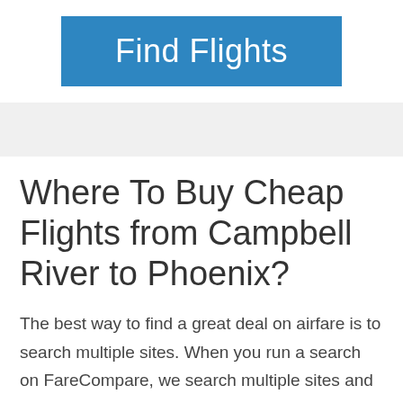[Figure (other): Blue 'Find Flights' button banner at the top of the page]
Where To Buy Cheap Flights from Campbell River to Phoenix?
The best way to find a great deal on airfare is to search multiple sites. When you run a search on FareCompare, we search multiple sites and fare sources all at once so you don't have to - which is why